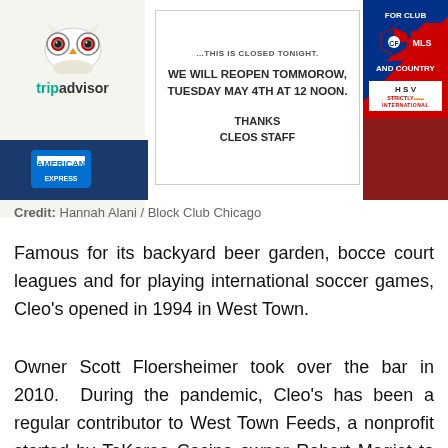[Figure (photo): Photo of a bar storefront showing a TripAdvisor sticker, a paper sign reading 'WE WILL REOPEN TOMMOROW, TUESDAY MAY 4TH AT 12 NOON. THANKS CLEOS STAFF', soccer club stickers including Chicago Fire and HSV Strictly International, and American Express logo stickers.]
Credit: Hannah Alani / Block Club Chicago
Famous for its backyard beer garden, bocce court leagues and for playing international soccer games, Cleo's opened in 1994 in West Town.
Owner Scott Floersheimer took over the bar in 2010.  During the pandemic, Cleo's has been a regular contributor to West Town Feeds, a nonprofit started by TaKorea Cocina owner Robert Magiet to deliver food and donate meals